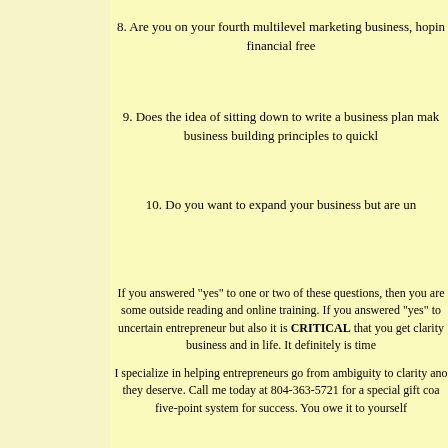8. Are you on your fourth multilevel marketing business, hoping this one will bring you the financial free
9. Does the idea of sitting down to write a business plan make you groan? Do you need basic business building principles to quickl
10. Do you want to expand your business but are un
If you answered "yes" to one or two of these questions, then you are probably in need of some outside reading and online training. If you answered "yes" to uncertain entrepreneur but also it is CRITICAL that you get clarity business and in life. It definitely is time
I specialize in helping entrepreneurs go from ambiguity to clarity and they deserve. Call me today at 804-363-5721 for a special gift coa five-point system for success. You owe it to yourself